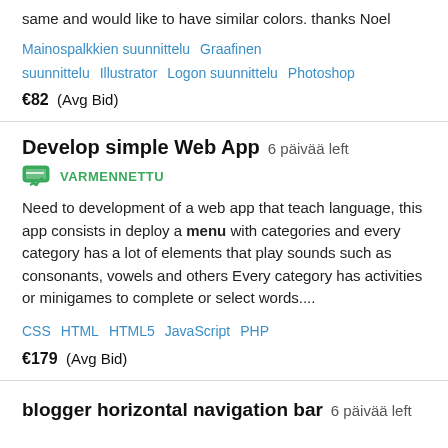same and would like to have similar colors. thanks Noel
Mainospalkkien suunnittelu   Graafinen suunnittelu   Illustrator   Logon suunnittelu   Photoshop
€82  (Avg Bid)
Develop simple Web App  6 päivää left
VARMENNETTU
Need to development of a web app that teach language, this app consists in deploy a menu with categories and every category has a lot of elements that play sounds such as consonants, vowels and others Every category has activities or minigames to complete or select words....
CSS   HTML   HTML5   JavaScript   PHP
€179  (Avg Bid)
blogger horizontal navigation bar  6 päivää left